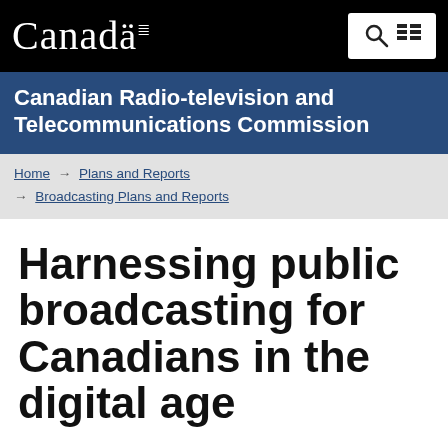Canada
Canadian Radio-television and Telecommunications Commission
Home → Plans and Reports → Broadcasting Plans and Reports
Harnessing public broadcasting for Canadians in the digital age
International benchmark study